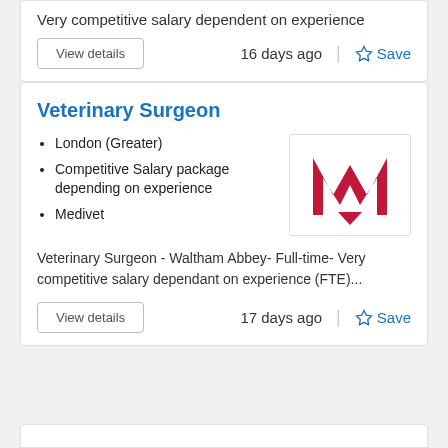Very competitive salary dependent on experience
16 days ago
Save
Veterinary Surgeon
London (Greater)
Competitive Salary package depending on experience
Medivet
[Figure (logo): Medivet logo — large red letter M with a downward-pointing triangle/arrow below it, on white background]
Veterinary Surgeon - Waltham Abbey- Full-time- Very competitive salary dependant on experience (FTE)...
17 days ago
Save